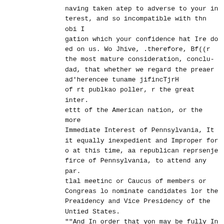naving taken atep to adverse to your in terest, and so incompatible with thn obi I gation which your confidence hat Ire do ed on us. Wo Jhive, .therefore, Bf((r the most mature consideration, conclu- dad, that whether we regard the preaer ad'herencee tuname jifincTjrH of rt publkao poller, r the great inter. ettt of the American nation, or the more Immediate Interest of Pennsylvania, It it equally inexpedient and Improper for o at this time, aa republican reprsenje firce of Pennsylvania, to attend any par. tlal meetinc or Caucus of members or Congreas lo nominate candidates lor the Preaidency and Vice Presidency of the Untied States.
""And In order that yon may be fully In formed upon ihia aubject, in time te de vise some mode of nomiaetion that might be generally acquieaced in, we have, in obedience to aente of duty to those by whose tuiTrage we held our teat in Con grctt, deemed it proper to make the avow